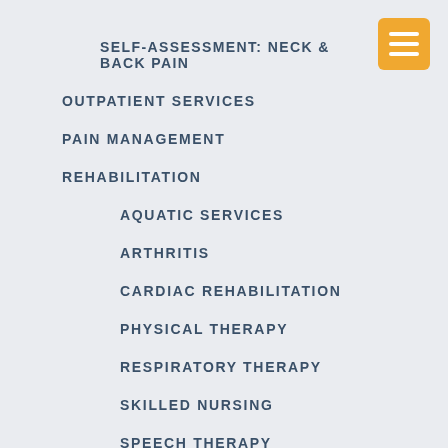SELF-ASSESSMENT: NECK & BACK PAIN
OUTPATIENT SERVICES
PAIN MANAGEMENT
REHABILITATION
AQUATIC SERVICES
ARTHRITIS
CARDIAC REHABILITATION
PHYSICAL THERAPY
RESPIRATORY THERAPY
SKILLED NURSING
SPEECH THERAPY
VITALSTIM THERAPY